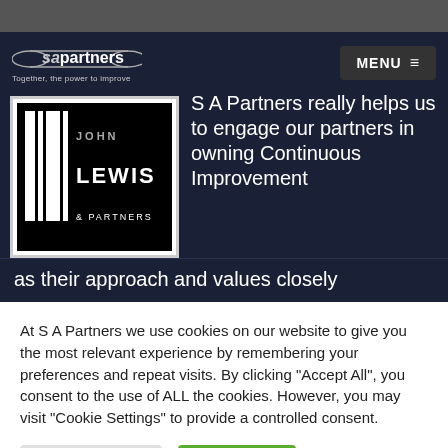SA Partners - Together, the power to improve | MENU
[Figure (logo): John Lewis & Partners logo — black background with white vertical bars and text 'JOHN LEWIS & PARTNERS']
S A Partners really helps us to engage our partners in owning Continuous Improvement as their approach and values closely
At S A Partners we use cookies on our website to give you the most relevant experience by remembering your preferences and repeat visits. By clicking "Accept All", you consent to the use of ALL the cookies. However, you may visit "Cookie Settings" to provide a controlled consent.